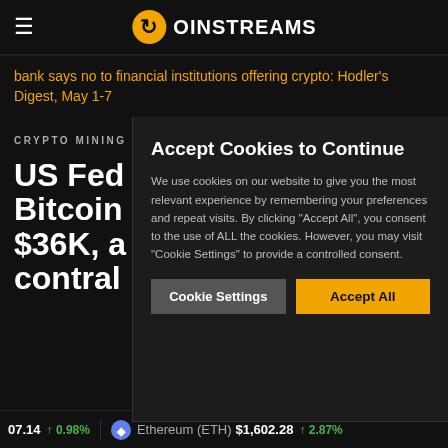COINSTREAMS
bank says no to financial institutions offering crypto: Hodler's Digest, May 1-7
CRYPTO MINING
US Fed h Bitcoin p $36K, a contral
Accept Cookies to Continue
We use cookies on our website to give you the most relevant experience by remembering your preferences and repeat visits. By clicking "Accept All", you consent to the use of ALL the cookies. However, you may visit "Cookie Settings" to provide a controlled consent.
Cookie Settings   Accept All
07.14 ↑ 0.98%   Ethereum (ETH) $1,602.28 ↑ 2.87%